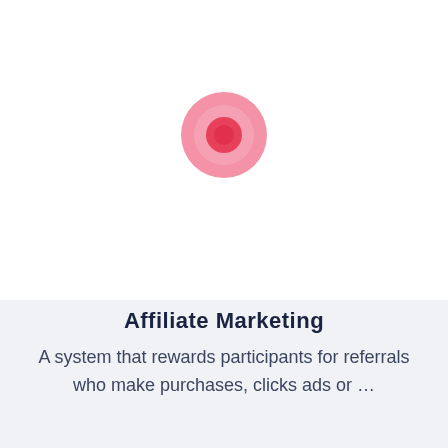[Figure (illustration): A pink donut/circle icon with a darker pink center circle, displayed on a white background.]
Affiliate Marketing
A system that rewards participants for referrals who make purchases, clicks ads or …